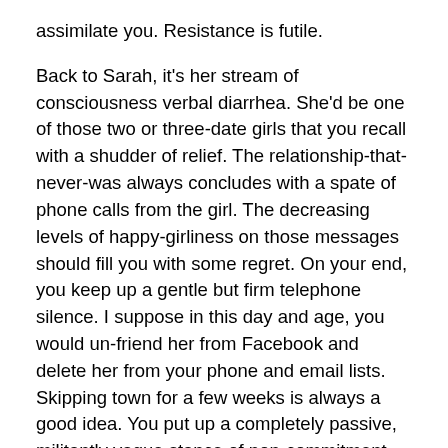assimilate you. Resistance is futile.
Back to Sarah, it's her stream of consciousness verbal diarrhea. She'd be one of those two or three-date girls that you recall with a shudder of relief. The relationship-that-never-was always concludes with a spate of phone calls from the girl. The decreasing levels of happy-girliness on those messages should fill you with some regret. On your end, you keep up a gentle but firm telephone silence. I suppose in this day and age, you would un-friend her from Facebook and delete her from your phone and email lists. Skipping town for a few weeks is always a good idea. You put up a completely passive, militantly vague stance of non-commitment until she decides you are not a good person to pursue.
Never, ever say, “Let’s just be friends.” Which is what we